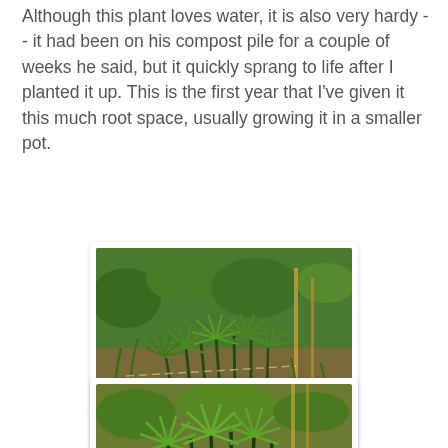Although this plant loves water, it is also very hardy -- it had been on his compost pile for a couple of weeks he said, but it quickly sprang to life after I planted it up. This is the first year that I've given it this much root space, usually growing it in a smaller pot.
[Figure (photo): A lush green papyrus or umbrella plant with multiple tall stems and radiating leaf clusters, growing in a garden setting with other vegetation and bamboo in the background.]
[Figure (photo): A closer view of the same or similar papyrus/umbrella plant showing the distinctive star-shaped radiating leaf clusters at the tops of slender stems.]